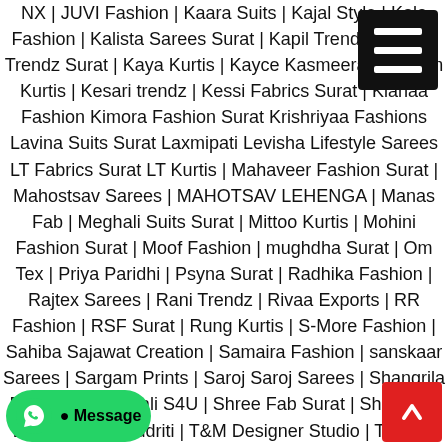NX | JUVI Fashion | Kaara Suits | Kajal Style | Kala Fashion | Kalista Sarees Surat | Kapil Trendz | Karma Trendz Surat | Kaya Kurtis | Kayce Kasmeera | Kersom Kurtis | Kesari trendz | Kessi Fabrics Surat | Kianaa Fashion Kimora Fashion Surat Krishriyaa Fashions Lavina Suits Surat Laxmipati Levisha Lifestyle Sarees LT Fabrics Surat LT Kurtis | Mahaveer Fashion Surat | Mahostsav Sarees | MAHOTSAV LEHENGA | Manas Fab | Meghali Suits Surat | Mittoo Kurtis | Mohini Fashion Surat | Moof Fashion | mughdha Surat | Om Tex | Priya Paridhi | Psyna Surat | Radhika Fashion | Rajtex Sarees | Rani Trendz | Rivaa Exports | RR Fashion | RSF Surat | Rung Kurtis | S-More Fashion | Sahiba Sajawat Creation | Samaira Fashion | sanskaar Sarees | Sargam Prints | Saroj Saroj Sarees | Shangrila Designers | Shivali S4U | Shree Fab Surat | Shree Sai Laxmi Surat | Sudriti | T&M Designer Studio | Tanishk Fashion Surat | Thastu | Triveni Sarees | V S Fashion | Vardan Designer | Varsiddhi Surat | Vinay Fashion Surat |
[Figure (other): Hamburger menu icon button (black background, three white bars) positioned at top right]
[Figure (other): WhatsApp Message button (green rounded button with WhatsApp icon and 'Message' text) at bottom left]
[Figure (other): Scroll-to-top button (red square button with upward arrow) at bottom right]